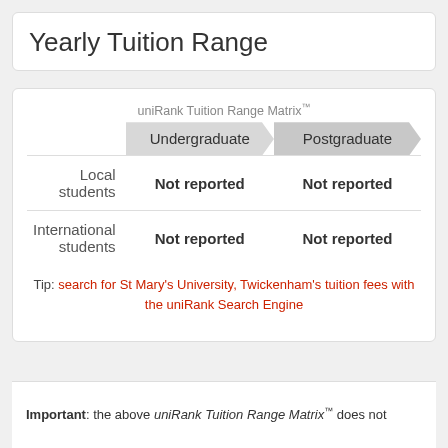Yearly Tuition Range
|  | Undergraduate | Postgraduate |
| --- | --- | --- |
| Local students | Not reported | Not reported |
| International students | Not reported | Not reported |
Tip: search for St Mary's University, Twickenham's tuition fees with the uniRank Search Engine
Important: the above uniRank Tuition Range Matrix™ does not